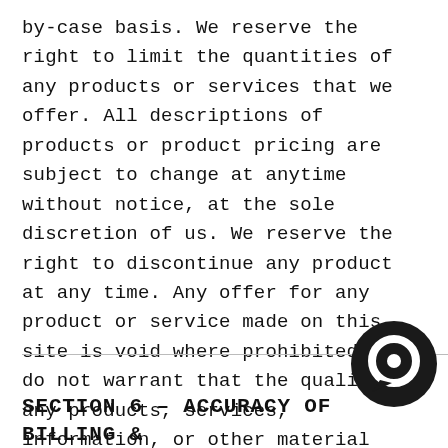by-case basis. We reserve the right to limit the quantities of any products or services that we offer. All descriptions of products or product pricing are subject to change at anytime without notice, at the sole discretion of us. We reserve the right to discontinue any product at any time. Any offer for any product or service made on this site is void where prohibited. We do not warrant that the quality of any products, services, information, or other material purchased or obtained by you will meet your expectations, or that any errors in the Service will be corrected.
[Figure (illustration): Chat bubble icon, dark circular shape with white inner ring and dot]
SECTION 6 – ACCURACY OF BILLING &